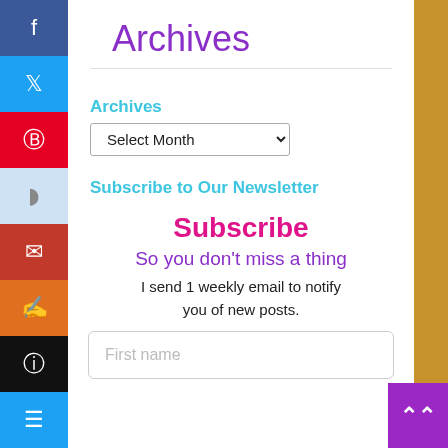Archives
Archives
Select Month
Subscribe to Our Newsletter
Subscribe
So you don't miss a thing
I send 1 weekly email to notify you of new posts.
First name